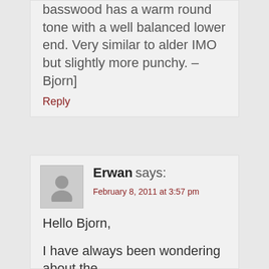basswood has a warm round tone with a well balanced lower end. Very similar to alder IMO but slightly more punchy. – Bjorn]
Reply
Erwan says:
February 8, 2011 at 3:57 pm
Hello Bjorn,
I have always been wondering about the